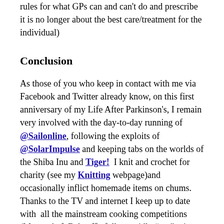rules for what GPs can and can't do and prescribe it is no longer about the best care/treatment for the individual)
Conclusion
As those of you who keep in contact with me via Facebook and Twitter already know, on this first anniversary of my Life After Parkinson's, I remain very involved with the day-to-day running of @Sailonline, following the exploits of @SolarImpulse and keeping tabs on the worlds of the Shiba Inu and Tiger!  I knit and crochet for charity (see my Knitting webpage)and occasionally inflict homemade items on chums.  Thanks to the TV and internet I keep up to date with  all the mainstream cooking competitions (Masterchef, Bakeoff), follow avidly “my” crime dramas, keep